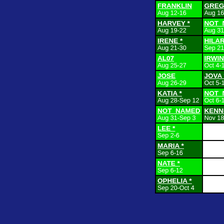| Atlantic | Eastern Pacific | Western Pacific |
| --- | --- | --- |
| FRANKLIN
Aug 12-16 | GREG
Aug 16-23 | HAIMA *
Jun 16-25 |
| HARVEY *
Aug 19-22 | NOT_NAMED *
Aug 31-Sep 2 | MEARI
Jun 20-27 |
| IRENE *
Aug 21-30 | HILARY
Sep 21-Oct 3 | MA-ON *
Jul 10-31 |
| AL07
Aug 25-27 | IRWIN
Oct 4-18 | TOKAGE
Jul 13-16 |
| JOSE
Aug 26-29 | JOVA *
Oct 5-12 | NOCK-TEN *
Jul 24-31 |
| KATIA *
Aug 28-Sep 12 | NOT_NAMED *
Oct 6-13 | MUIFA *
Jul 26-Aug 1 |
| NOT_NAMED
Aug 31-Sep 3 | KENNETH
Nov 18-26 | MERBOK
Aug 2-12 |
| LEE *
Sep 2-6 |  | NOT_NAMED
Aug 8-15 |
| MARIA *
Sep 6-16 |  | NANMADOL
Aug 21-31 |
| NATE *
Sep 6-12 |  | TALAS *
Aug 23-Sep |
| OPHELIA *
Sep 20-Oct 4 |  | NORU *
Sep 1-9 |